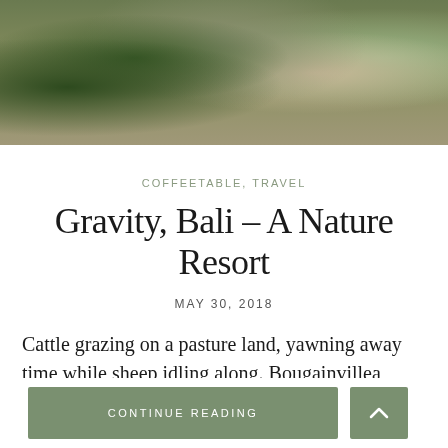[Figure (photo): Photograph of tropical plants and greenery at a nature resort in Bali, showing lush vegetation with sunlight filtering through leaves]
COFFEETABLE, TRAVEL
Gravity, Bali – A Nature Resort
MAY 30, 2018
Cattle grazing on a pasture land, yawning away time while sheep idling along. Bougainvillea demarcated estates with huts and small houses where kids are playing hide & seek, mothers washing clothes, grannies cooking
CONTINUE READING